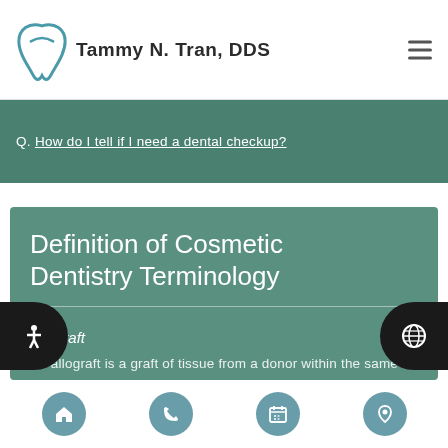Tammy N. Tran, DDS
Q. How do I tell if I need a dental checkup?
Definition of Cosmetic Dentistry Terminology
Allograft
An allograft is a graft of tissue from a donor within the same species as the patient that is not a genetic relative.